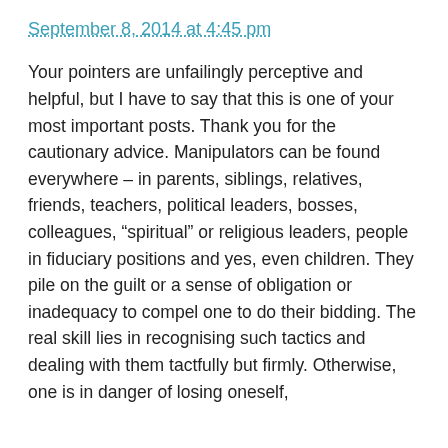September 8, 2014 at 4:45 pm
Your pointers are unfailingly perceptive and helpful, but I have to say that this is one of your most important posts. Thank you for the cautionary advice. Manipulators can be found everywhere – in parents, siblings, relatives, friends, teachers, political leaders, bosses, colleagues, “spiritual” or religious leaders, people in fiduciary positions and yes, even children. They pile on the guilt or a sense of obligation or inadequacy to compel one to do their bidding. The real skill lies in recognising such tactics and dealing with them tactfully but firmly. Otherwise, one is in danger of losing oneself, and becoming in danger of losing oneself,